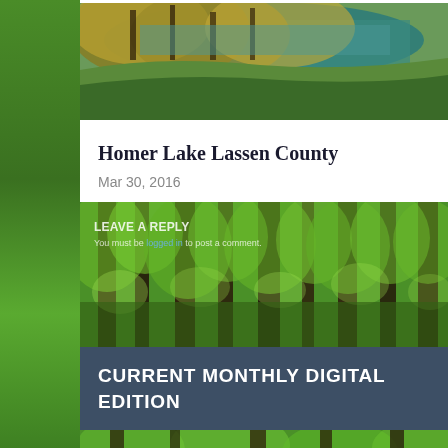[Figure (photo): Landscape photo showing Homer Lake in Lassen County, with blue-green water visible between autumn-colored trees and golden foliage on hillside]
Homer Lake Lassen County
Mar 30, 2016
[Figure (photo): Dense forest photo with tall trees, sunlit green foliage and tree trunks filling the frame]
LEAVE A REPLY
You must be logged in to post a comment.
CURRENT MONTHLY DIGITAL EDITION